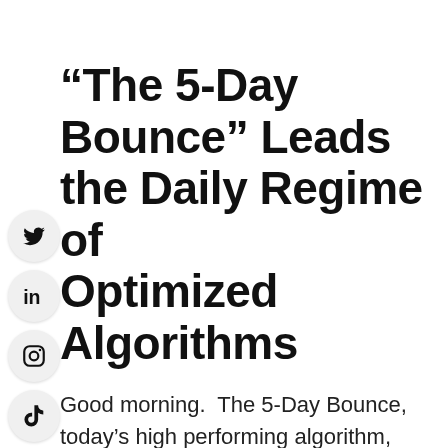“The 5-Day Bounce” Leads the Daily Regime of Optimized Algorithms
Good morning. The 5-Day Bounce, today’s high performing algorithm, headlines the Holly Morning dle Report.